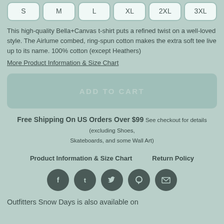S  M  L  XL  2XL  3XL
This high-quality Bella+Canvas t-shirt puts a refined twist on a well-loved style. The Airlume combed, ring-spun cotton makes the extra soft tee live up to its name. 100% cotton (except Heathers)
More Product Information & Size Chart
ADD TO CART
Free Shipping On US Orders Over $99 See checkout for details (excluding Shoes, Skateboards, and some Wall Art)
Product Information & Size Chart
Return Policy
[Figure (infographic): Social share icons: Facebook, Tumblr, Twitter, Pinterest, Email]
Outfitters Snow Days is also available on